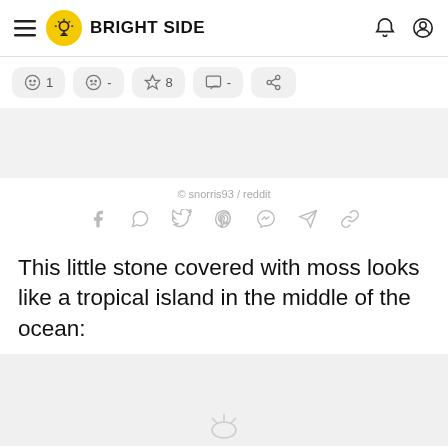BRIGHT SIDE
© 1  ☹ -  ☆ 8  ☐ -  share
© snorris93 / reddit
This little stone covered with moss looks like a tropical island in the middle of the ocean:
[Figure (other): Loading image placeholder at bottom of page]